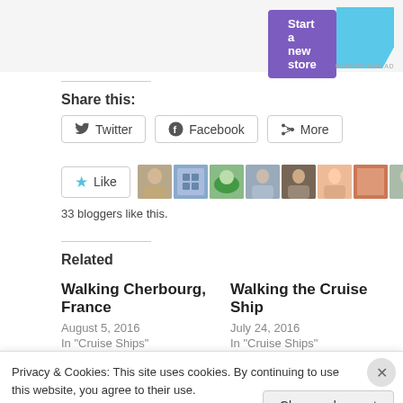[Figure (screenshot): Purple 'Start a new store' button and teal graphic ad banner at top]
Share this:
[Figure (screenshot): Share buttons: Twitter, Facebook, More]
[Figure (screenshot): Like button with star icon and blogger avatars row]
33 bloggers like this.
Related
Walking Cherbourg, France
August 5, 2016
In "Cruise Ships"
Walking the Cruise Ship
July 24, 2016
In "Cruise Ships"
Privacy & Cookies: This site uses cookies. By continuing to use this website, you agree to their use.
To find out more, including how to control cookies, see here: Cookie Policy
Close and accept